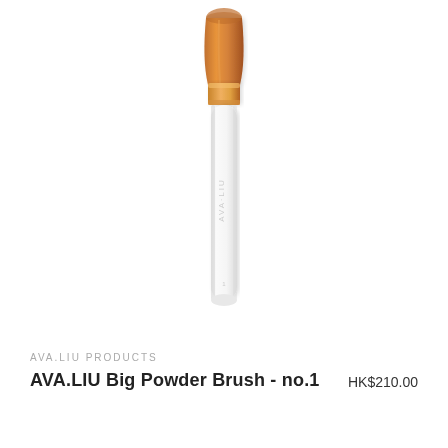[Figure (photo): A makeup powder brush with a white handle labeled AVA·LIU and a copper/bronze colored ferrule and brush head, shown vertically centered on a white background.]
AVA.LIU PRODUCTS
AVA.LIU Big Powder Brush - no.1
HK$210.00